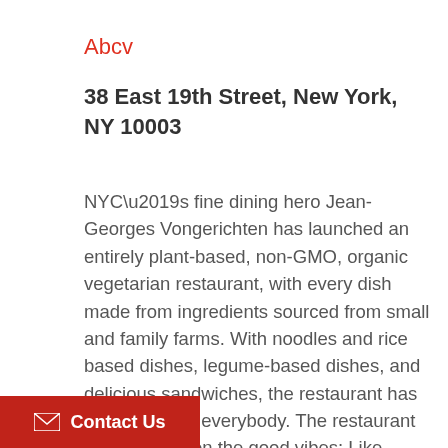Abcv
38 East 19th Street, New York, NY 10003
NYC’s fine dining hero Jean-Georges Vongerichten has launched an entirely plant-based, non-GMO, organic vegetarian restaurant, with every dish made from ingredients sourced from small and family farms. With noodles and rice based dishes, legume-based dishes, and delicious sandwiches, the restaurant has something for everybody. The restaurant also delivers on the good vibes: Like every “ABC” restaurant, it has a quirky-cool interior decorating
Contact Us